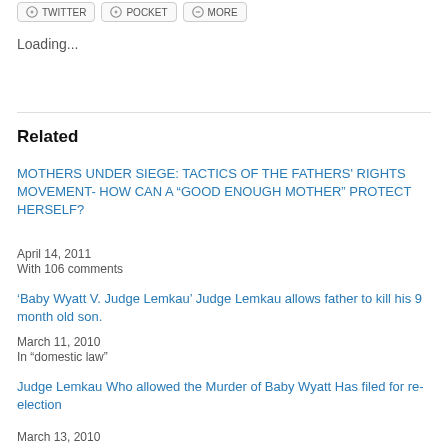Loading...
Related
MOTHERS UNDER SIEGE: TACTICS OF THE FATHERS' RIGHTS MOVEMENT- HOW CAN A “GOOD ENOUGH MOTHER” PROTECT HERSELF?
April 14, 2011
With 106 comments
'Baby Wyatt V. Judge Lemkau' Judge Lemkau allows father to kill his 9 month old son.
March 11, 2010
In “domestic law”
Judge Lemkau Who allowed the Murder of Baby Wyatt Has filed for re-election
March 13, 2010